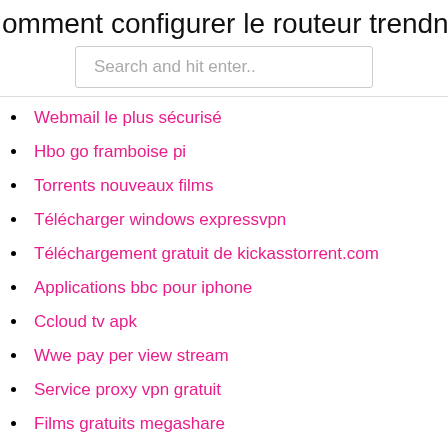omment configurer le routeur trendn
Search and hit enter..
Webmail le plus sécurisé
Hbo go framboise pi
Torrents nouveaux films
Télécharger windows expressvpn
Téléchargement gratuit de kickasstorrent.com
Applications bbc pour iphone
Ccloud tv apk
Wwe pay per view stream
Service proxy vpn gratuit
Films gratuits megashare